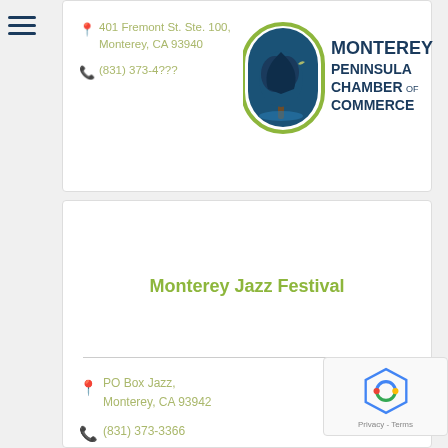[Figure (logo): Monterey Peninsula Chamber of Commerce logo with tree and arch graphic]
401 Fremont St. Ste. 100,
Monterey, CA 93940
(831) 373-4???
Monterey Jazz Festival
PO Box Jazz,
Monterey, CA 93942
(831) 373-3366